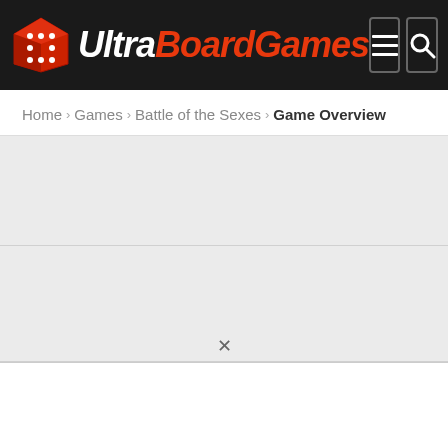UltraBoardGames
Home > Games > Battle of the Sexes > Game Overview
[Figure (other): Advertisement banner placeholder block (gray)]
[Figure (other): Advertisement banner placeholder block (gray)]